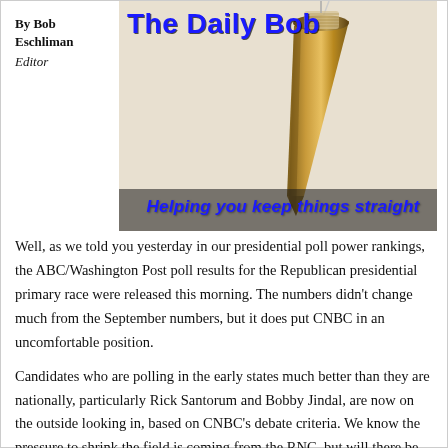By Bob Eschliman
Editor
The Daily Bob
[Figure (photo): A brass plumb bob hanging by a string against a light background, with the text 'Helping you keep things straight' below it.]
Well, as we told you yesterday in our presidential poll power rankings, the ABC/Washington Post poll results for the Republican presidential primary race were released this morning. The numbers didn't change much from the September numbers, but it does put CNBC in an uncomfortable position.
Candidates who are polling in the early states much better than they are nationally, particularly Rick Santorum and Bobby Jindal, are now on the outside looking in, based on CNBC's debate criteria. We know the pressure to shrink the field is coming from the RNC, but will there be equal pressure to somehow work them in?